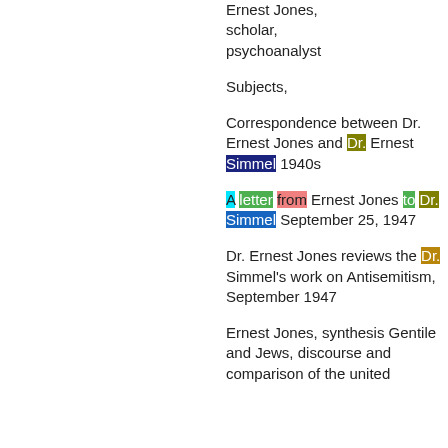Ernest Jones, scholar, psychoanalyst
Subjects,
Correspondence between Dr. Ernest Jones and Dr. Ernest Simmel 1940s
A letter from Ernest Jones to Dr. Simmel September 25, 1947
Dr. Ernest Jones reviews the Dr. Simmel's work on Antisemitism, September 1947
Ernest Jones, synthesis Gentile and Jews, discourse and comparison of the united